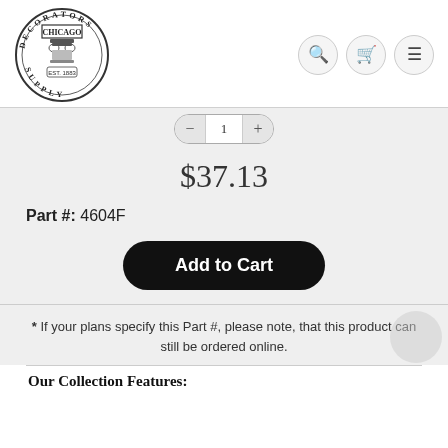[Figure (logo): Decorators Supply Chicago circular logo with column capital, EST. 1883]
$37.13
Part #: 4604F
Add to Cart
* If your plans specify this Part #, please note, that this product can still be ordered online.
Our Collection Features: